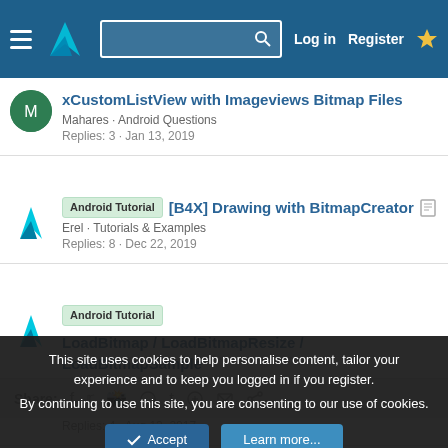Navigation bar with logo, search, Log in, Register
xCustomListView with Imageviews Bitmap Files — Mahares · Android Questions — Replies: 3 · Jan 13, 2019
Android Tutorial [B4X] Drawing with BitmapCreator — Erel · Tutorials & Examples — Replies: 8 · Dec 22, 2019
Android Tutorial LoadBitmap / LoadBitmapResize / LoadBitmapSample — Erel · Tutorials & Examples — Replies: 4 · Aug 13, 2017
Share: (social icons: Facebook, Twitter, Reddit, Pinterest, Tumblr, WhatsApp, Email, Link)
This site uses cookies to help personalise content, tailor your experience and to keep you logged in if you register.
By continuing to use this site, you are consenting to our use of cookies.
Accept   Learn more...